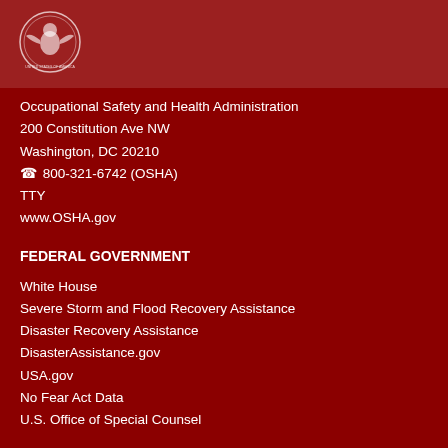[Figure (logo): OSHA / US Department of Labor seal in white on dark red header band]
Occupational Safety and Health Administration
200 Constitution Ave NW
Washington, DC 20210
☎ 800-321-6742 (OSHA)
TTY
www.OSHA.gov
FEDERAL GOVERNMENT
White House
Severe Storm and Flood Recovery Assistance
Disaster Recovery Assistance
DisasterAssistance.gov
USA.gov
No Fear Act Data
U.S. Office of Special Counsel
OCCUPATIONAL SAFETY AND HEALTH
Frequently Asked Questions
A - Z Index
Freedom of Information Act